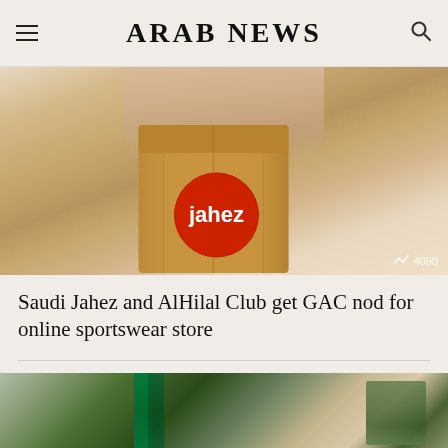ARAB NEWS
[Figure (photo): A hand holding a brown paper bag with a red circular Jahez logo sticker on it. Watermark reads: 4090]
Saudi Jahez and AlHilal Club get GAC nod for online sportswear store
[Figure (photo): Partial view of a second article image showing Saudi flags and an interior setting with plants]